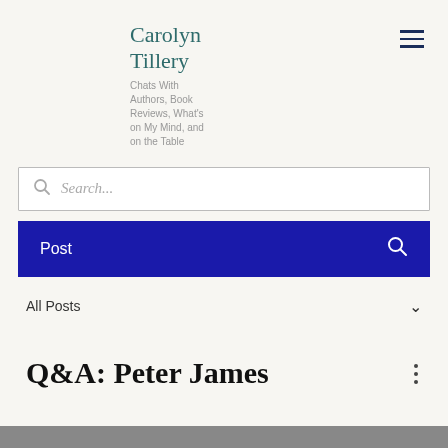Carolyn Tillery — Chats With Authors, Book Reviews, What's on My Mind, and on the Table
Search...
Post
All Posts
Q&A: Peter James